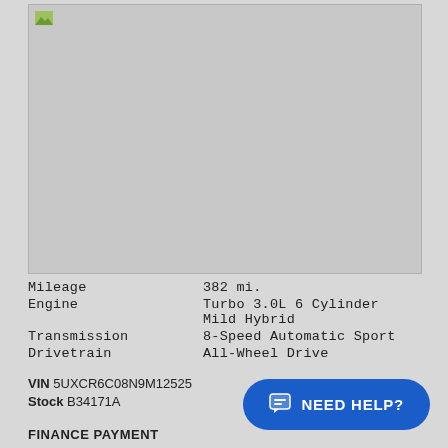[Figure (photo): Vehicle photo placeholder (broken/unloaded image) with gray background]
| Mileage | 382 mi. |
| Engine | Turbo 3.0L 6 Cylinder Mild Hybrid |
| Transmission | 8-Speed Automatic Sport |
| Drivetrain | All-Wheel Drive |
VIN 5UXCR6C08N9M12525
Stock B34171A
FINANCE PAYMENT